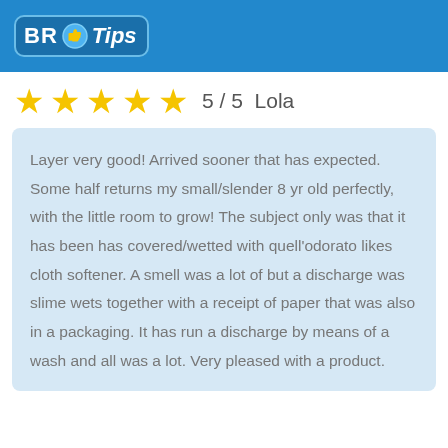[Figure (logo): BR Tips logo with thumbs up icon on a blue rounded rectangle badge]
5 / 5  Lola
Layer very good! Arrived sooner that has expected. Some half returns my small/slender 8 yr old perfectly, with the little room to grow! The subject only was that it has been has covered/wetted with quell'odorato likes cloth softener. A smell was a lot of but a discharge was slime wets together with a receipt of paper that was also in a packaging. It has run a discharge by means of a wash and all was a lot. Very pleased with a product.